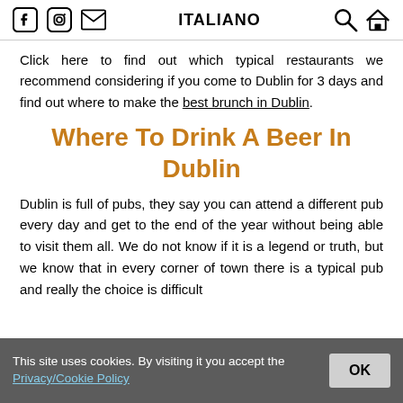ITALIANO
Click here to find out which typical restaurants we recommend considering if you come to Dublin for 3 days and find out where to make the best brunch in Dublin.
Where To Drink A Beer In Dublin
Dublin is full of pubs, they say you can attend a different pub every day and get to the end of the year without being able to visit them all. We do not know if it is a legend or truth, but we know that in every corner of town there is a typical pub and really the choice is difficult
This site uses cookies. By visiting it you accept the Privacy/Cookie Policy